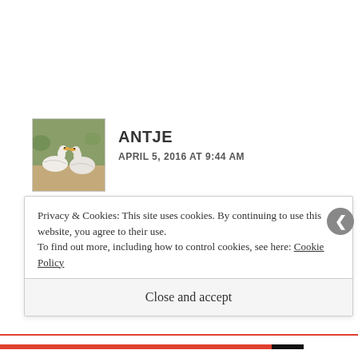[Figure (photo): Avatar image of two white geese/ducks in an outdoor nature setting]
ANTJE
APRIL 5, 2016 AT 9:44 AM
Lovely drawing! Thanks for sharing your thoughts on the how-to a bit!
Privacy & Cookies: This site uses cookies. By continuing to use this website, you agree to their use.
To find out more, including how to control cookies, see here: Cookie Policy
Close and accept